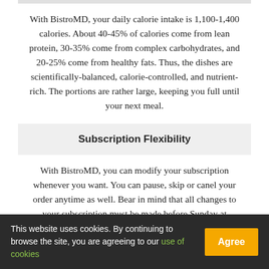With BistroMD, your daily calorie intake is 1,100-1,400 calories. About 40-45% of calories come from lean protein, 30-35% come from complex carbohydrates, and 20-25% come from healthy fats. Thus, the dishes are scientifically-balanced, calorie-controlled, and nutrient-rich. The portions are rather large, keeping you full until your next meal.
Subscription Flexibility
With BistroMD, you can modify your subscription whenever you want. You can pause, skip or canel your order anytime as well. Bear in mind that all changes to your subscription must be made before Sunday at
This website uses cookies. By continuing to browse the site, you are agreeing to our use of cookies  Agree